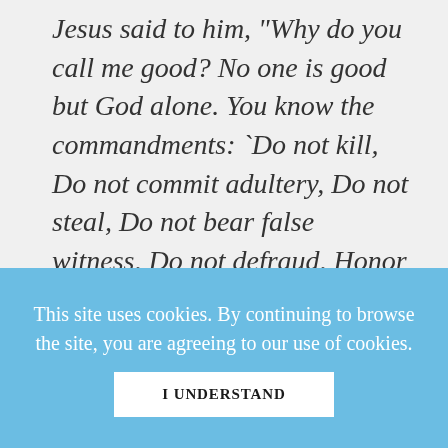Jesus said to him, "Why do you call me good? No one is good but God alone. You know the commandments: `Do not kill, Do not commit adultery, Do not steal, Do not bear false witness, Do not defraud, Honor your father and mother.'" And he said to him, "Teacher, all these I
This site uses cookies. By continuing to browse the site, you are agreeing to our use of cookies.
I UNDERSTAND